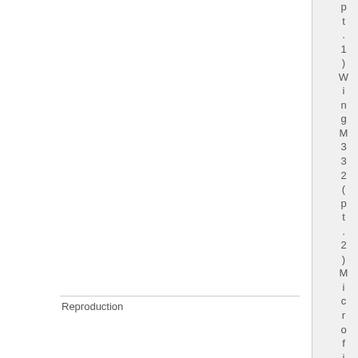|  |  |
| --- | --- |
|  | pt. 1) WingM332 (pt. 2) |
| Reproduction | Microfil... |